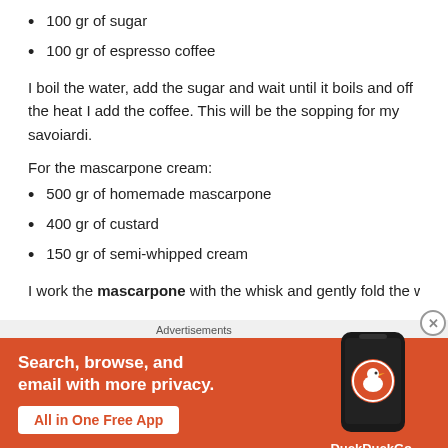100 gr of sugar
100 gr of espresso coffee
I boil the water, add the sugar and wait until it boils and off the heat I add the coffee. This will be the sopping for my savoiardi.
For the mascarpone cream:
500 gr of homemade mascarpone
400 gr of custard
150 gr of semi-whipped cream
I work the mascarpone with the whisk and gently fold the whipped cream and the custard. Do not hurry this step and use
[Figure (other): DuckDuckGo advertisement banner: Search, browse, and email with more privacy. All in One Free App. Shows a phone with DuckDuckGo app.]